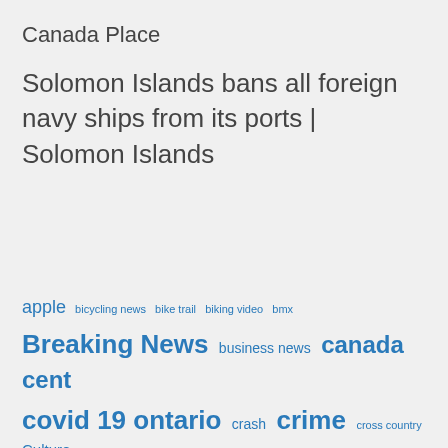Canada Place
Solomon Islands bans all foreign navy ships from its ports | Solomon Islands
apple  bicycling news  bike trail  biking video  bmx  Breaking News  business news  canada  cent  covid 19 ontario  crash  crime  cross country  Culture  doug ford  downhill  Entertainment  freeride  Gizmodo